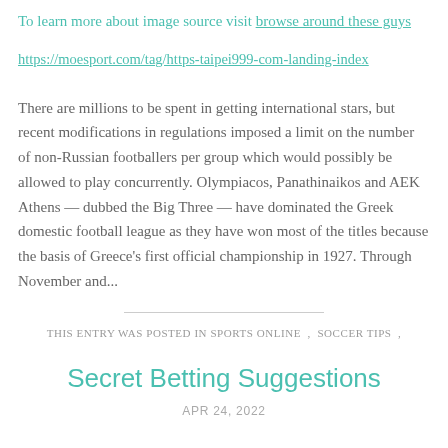To learn more about image source visit browse around these guys
https://moesport.com/tag/https-taipei999-com-landing-index
There are millions to be spent in getting international stars, but recent modifications in regulations imposed a limit on the number of non-Russian footballers per group which would possibly be allowed to play concurrently. Olympiacos, Panathinaikos and AEK Athens — dubbed the Big Three — have dominated the Greek domestic football league as they have won most of the titles because the basis of Greece's first official championship in 1927. Through November and...
THIS ENTRY WAS POSTED IN SPORTS ONLINE , SOCCER TIPS ,
Secret Betting Suggestions
APR 24, 2022